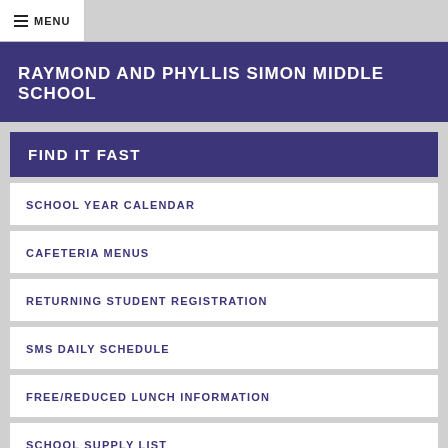≡ MENU
RAYMOND AND PHYLLIS SIMON MIDDLE SCHOOL
FIND IT FAST
SCHOOL YEAR CALENDAR
CAFETERIA MENUS
RETURNING STUDENT REGISTRATION
SMS DAILY SCHEDULE
FREE/REDUCED LUNCH INFORMATION
SCHOOL SUPPLY LIST
SPECIAL EDUCATION PROGRAMS